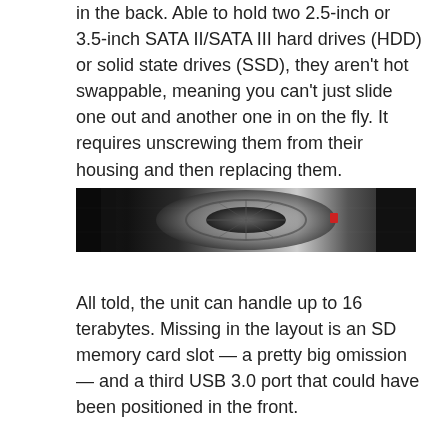in the back. Able to hold two 2.5-inch or 3.5-inch SATA II/SATA III hard drives (HDD) or solid state drives (SSD), they aren't hot swappable, meaning you can't just slide one out and another one in on the fly. It requires unscrewing them from their housing and then replacing them.
[Figure (photo): Close-up photograph of a dark circular fan or drive housing component, showing metallic/black tones with a small red indicator element visible.]
All told, the unit can handle up to 16 terabytes. Missing in the layout is an SD memory card slot — a pretty big omission — and a third USB 3.0 port that could have been positioned in the front.